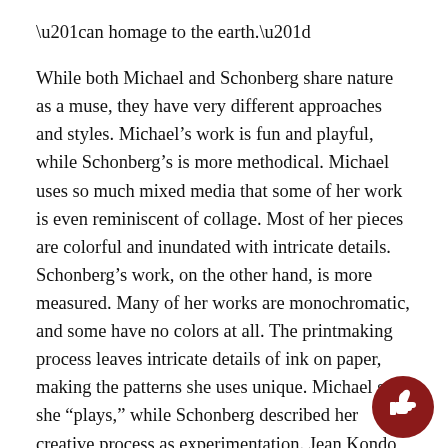“an homage to the earth.”
While both Michael and Schonberg share nature as a muse, they have very different approaches and styles. Michael’s work is fun and playful, while Schonberg’s is more methodical. Michael uses so much mixed media that some of her work is even reminiscent of collage. Most of her pieces are colorful and inundated with intricate details. Schonberg’s work, on the other hand, is more measured. Many of her works are monochromatic, and some have no colors at all. The printmaking process leaves intricate details of ink on paper, making the patterns she uses unique. Michael said she “plays,” while Schonberg described her creative process as experimentation. Jean Kondo Weigl, one of the curators of this exhibition, recalled the initial trouble she faced in arranging their work, as the two artists’ styles can be strikingly disparate. But despite using diverse
[Figure (other): Dark red circle with a white thumbs-up icon]